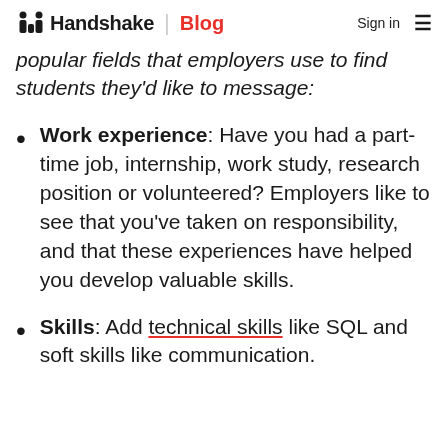Handshake | Blog  Sign in
popular fields that employers use to find students they'd like to message:
Work experience: Have you had a part-time job, internship, work study, research position or volunteered? Employers like to see that you've taken on responsibility, and that these experiences have helped you develop valuable skills.
Skills: Add technical skills like SQL and soft skills like communication.